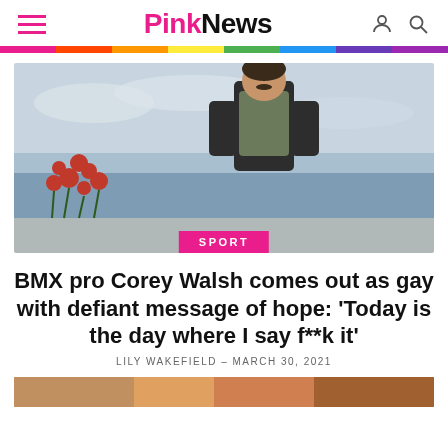PinkNews
[Figure (photo): Man standing outdoors near the ocean wearing a dark hoodie and olive vest, with red flowering plants in the foreground and overcast sky. Pink badge reads SPORT.]
BMX pro Corey Walsh comes out as gay with defiant message of hope: ‘Today is the day where I say f**k it’
LILY WAKEFIELD – MARCH 30, 2021
[Figure (photo): Partial image at bottom of page, cropped.]